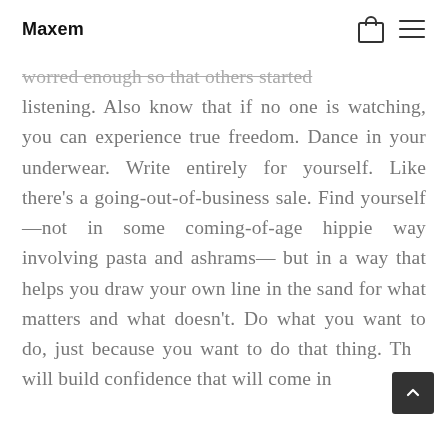Maxem
worred enough so that others started listening. Also know that if no one is watching, you can experience true freedom. Dance in your underwear. Write entirely for yourself. Like there’s a going-out-of-business sale. Find yourself—not in some coming-of-age hippie way involving pasta and ashrams— but in a way that helps you draw your own line in the sand for what matters and what doesn’t. Do what you want to do, just because you want to do that thing. That will build confidence that will come in